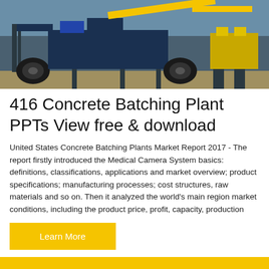[Figure (photo): Photograph of concrete batching plant equipment — heavy machinery with wheels and metal frame, yellow and blue colors, industrial setting]
416 Concrete Batching Plant PPTs View free & download
United States Concrete Batching Plants Market Report 2017 - The report firstly introduced the Medical Camera System basics: definitions, classifications, applications and market overview; product specifications; manufacturing processes; cost structures, raw materials and so on. Then it analyzed the world's main region market conditions, including the product price, profit, capacity, production
Learn More
[Figure (photo): Yellow background section with left arrow navigation button and scroll-to-top dark circular button on the right, white curved shape at bottom center]